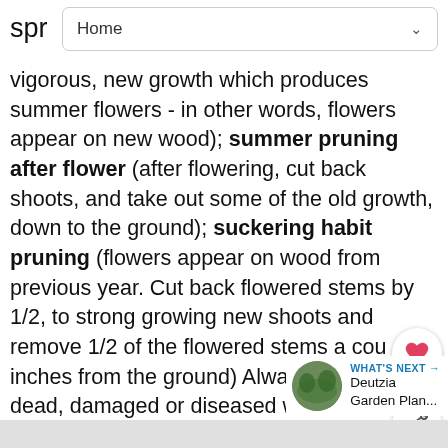spr  Home
vigorous, new growth which produces summer flowers - in other words, flowers appear on new wood); summer pruning after flower (after flowering, cut back shoots, and take out some of the old growth, down to the ground); suckering habit pruning (flowers appear on wood from previous year. Cut back flowered stems by 1/2, to strong growing new shoots and remove 1/2 of the flowered stems a couple of inches from the ground) Always remove dead, damaged or diseased wood first, no matter what type of pruning you are doing.
[Figure (other): What's Next panel with thumbnail image linking to Deutzia Garden Plan...]